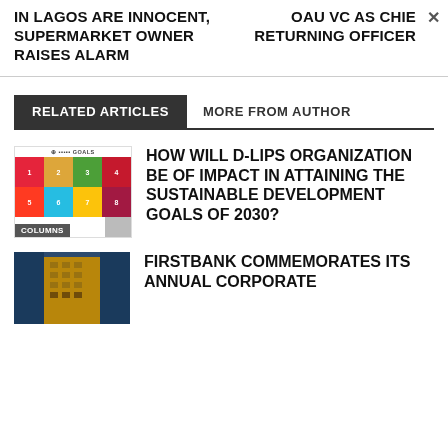IN LAGOS ARE INNOCENT, SUPERMARKET OWNER RAISES ALARM
OAU VC AS CHIEF RETURNING OFFICER
RELATED ARTICLES
MORE FROM AUTHOR
[Figure (photo): SDG Goals grid image with COLUMNS badge overlay]
HOW WILL D-LIPS ORGANIZATION BE OF IMPACT IN ATTAINING THE SUSTAINABLE DEVELOPMENT GOALS OF 2030?
[Figure (photo): FirstBank building exterior photo]
FIRSTBANK COMMEMORATES ITS ANNUAL CORPORATE